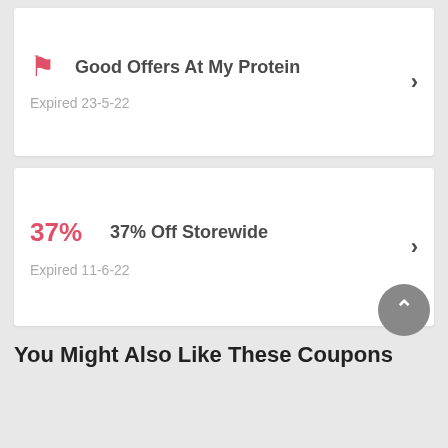Good Offers At My Protein — Expired 23-5-22
37% Off Storewide — Expired 11-6-22
You Might Also Like These Coupons
Pilgrim Gift Card From...